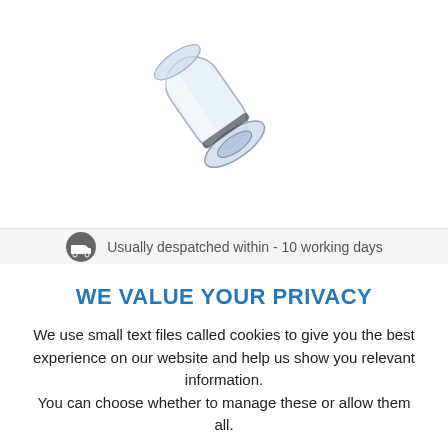[Figure (photo): A clear plastic medical spacer/inhaler attachment component photographed on white background]
Usually despatched within - 10 working days
WE VALUE YOUR PRIVACY
We use small text files called cookies to give you the best experience on our website and help us show you relevant information.
You can choose whether to manage these or allow them all.
View Cookie Policy.
Manage Cookies
Allow All